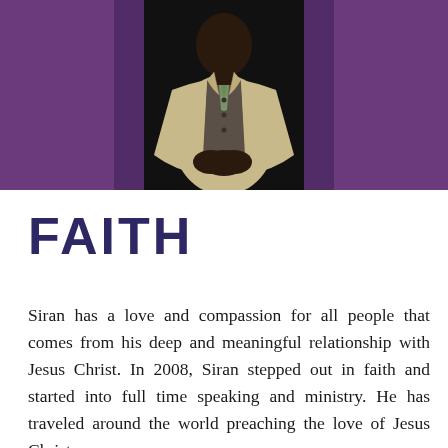[Figure (photo): A man in a beige/tan suit with a decorative tie and vest, standing in front of purple curtains, hands clasped together in front of him. The photo is cropped to show roughly from the waist up, with a dark background.]
FAITH
Siran has a love and compassion for all people that comes from his deep and meaningful relationship with Jesus Christ. In 2008, Siran stepped out in faith and started into full time speaking and ministry. He has traveled around the world preaching the love of Jesus Christ